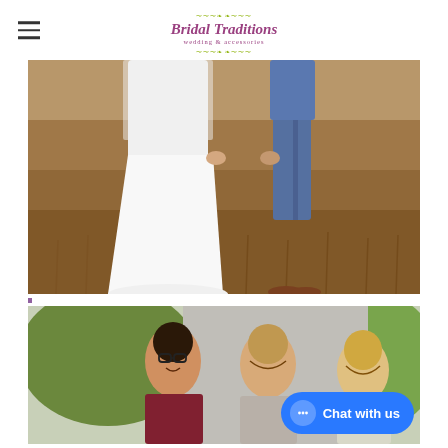Bridal Traditions - wedding & accessories logo with hamburger menu
[Figure (photo): Wedding photo showing lower half of bride in white flowing gown and groom in blue suit, standing on dry grass field]
[Figure (photo): Group photo of three smiling women (bridesmaids/staff), partially visible, with green trees in background and a blue 'Chat with us' button overlay]